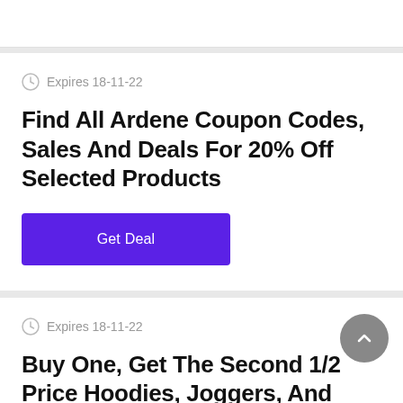Expires 18-11-22
Find All Ardene Coupon Codes, Sales And Deals For 20% Off Selected Products
Get Deal
Expires 18-11-22
Buy One, Get The Second 1/2 Price Hoodies, Joggers, And